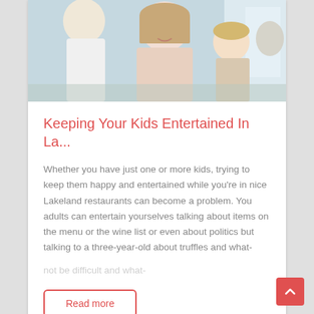[Figure (photo): A family scene with parents and a young child, smiling, indoors at what appears to be a restaurant or dining setting.]
Keeping Your Kids Entertained In La...
Whether you have just one or more kids, trying to keep them happy and entertained while you're in nice Lakeland restaurants can become a problem. You adults can entertain yourselves talking about items on the menu or the wine list or even about politics but talking to a three-year-old about truffles and what-
Read more